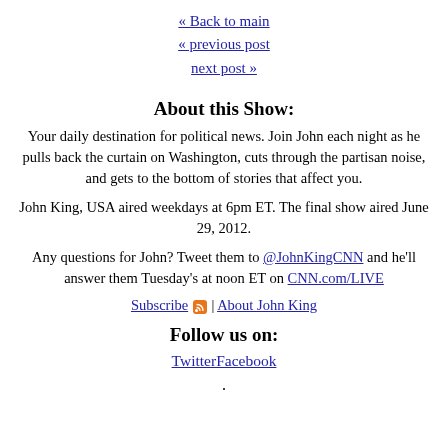« Back to main
« previous post
next post »
About this Show:
Your daily destination for political news. Join John each night as he pulls back the curtain on Washington, cuts through the partisan noise, and gets to the bottom of stories that affect you.
John King, USA aired weekdays at 6pm ET. The final show aired June 29, 2012.
Any questions for John? Tweet them to @JohnKingCNN and he'll answer them Tuesday's at noon ET on CNN.com/LIVE
Subscribe | About John King
Follow us on:
TwitterFacebook
.